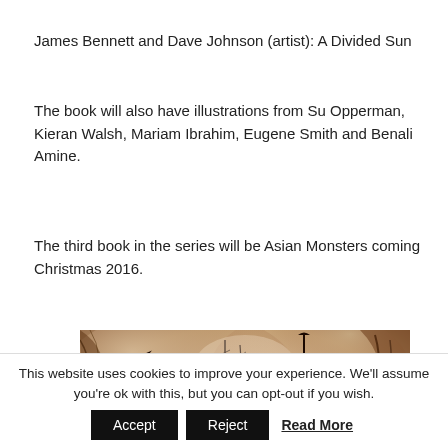James Bennett and Dave Johnson (artist): A Divided Sun
The book will also have illustrations from Su Opperman, Kieran Walsh, Mariam Ibrahim, Eugene Smith and Benali Amine.
The third book in the series will be Asian Monsters coming Christmas 2016.
[Figure (illustration): Watercolor/ink illustration showing ruined or decaying buildings in warm brown and sepia tones with atmospheric, smoky background]
This website uses cookies to improve your experience. We'll assume you're ok with this, but you can opt-out if you wish.
Accept   Reject   Read More